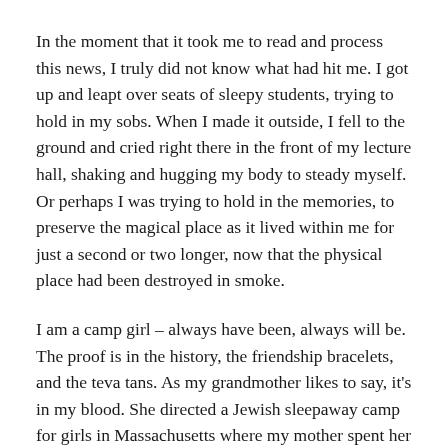In the moment that it took me to read and process this news, I truly did not know what had hit me. I got up and leapt over seats of sleepy students, trying to hold in my sobs. When I made it outside, I fell to the ground and cried right there in the front of my lecture hall, shaking and hugging my body to steady myself. Or perhaps I was trying to hold in the memories, to preserve the magical place as it lived within me for just a second or two longer, now that the physical place had been destroyed in smoke.
I am a camp girl – always have been, always will be. The proof is in the history, the friendship bracelets, and the teva tans. As my grandmother likes to say, it's in my blood. She directed a Jewish sleepaway camp for girls in Massachusetts where my mother spent her summers